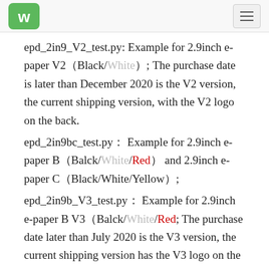Waveshare logo and navigation menu
epd_2in9_V2_test.py: Example for 2.9inch e-paper V2（Black/White）; The purchase date is later than December 2020 is the V2 version, the current shipping version, with the V2 logo on the back.
epd_2in9bc_test.py： Example for 2.9inch e-paper B（Balck/White/Red） and 2.9inch e-paper C（Black/White/Yellow）;
epd_2in9b_V3_test.py： Example for 2.9inch e-paper B V3（Balck/White/Red; The purchase date later than July 2020 is the V3 version, the current shipping version has the V3 logo on the